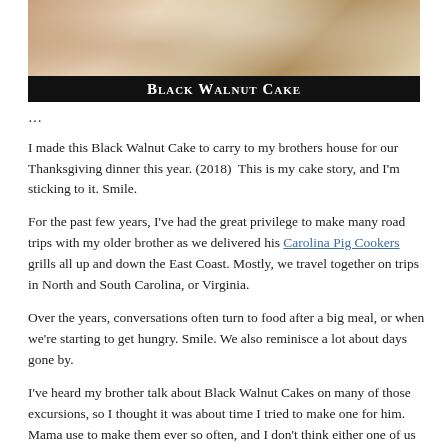[Figure (photo): Photo of Black Walnut Cake on a plate with a black title bar reading 'Black Walnut Cake' in white serif font]
…
I made this Black Walnut Cake to carry to my brothers house for our Thanksgiving dinner this year. (2018)  This is my cake story, and I'm sticking to it. Smile.
For the past few years, I've had the great privilege to make many road trips with my older brother as we delivered his Carolina Pig Cookers grills all up and down the East Coast. Mostly, we travel together on trips in North and South Carolina, or Virginia.
Over the years, conversations often turn to food after a big meal, or when we're starting to get hungry. Smile. We also reminisce a lot about days gone by.
I've heard my brother talk about Black Walnut Cakes on many of those excursions, so I thought it was about time I tried to make one for him. Mama use to make them ever so often, and I don't think either one of us have had one in years.
If you've never had them, black walnuts have a unique taste all their own. They can also be a bit difficult to crack open and enjoy.